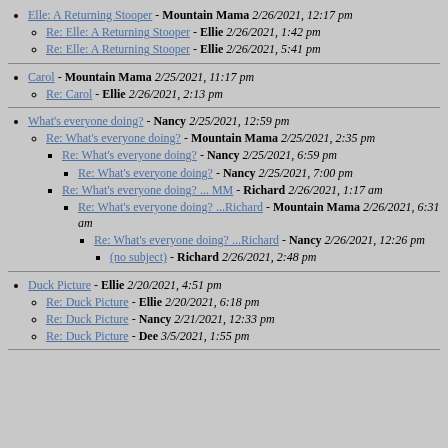Elle: A Returning Stooper - Mountain Mama 2/26/2021, 12:17 pm
Re: Elle: A Returning Stooper - Ellie 2/26/2021, 1:42 pm
Re: Elle: A Returning Stooper - Ellie 2/26/2021, 5:41 pm
Carol - Mountain Mama 2/25/2021, 11:17 pm
Re: Carol - Ellie 2/26/2021, 2:13 pm
What's everyone doing? - Nancy 2/25/2021, 12:59 pm
Re: What's everyone doing? - Mountain Mama 2/25/2021, 2:35 pm
Re: What's everyone doing? - Nancy 2/25/2021, 6:59 pm
Re: What's everyone doing? - Nancy 2/25/2021, 7:00 pm
Re: What's everyone doing? ... MM - Richard 2/26/2021, 1:17 am
Re: What's everyone doing? ...Richard - Mountain Mama 2/26/2021, 6:31 am
Re: What's everyone doing? ...Richard - Nancy 2/26/2021, 12:26 pm
(no subject) - Richard 2/26/2021, 2:48 pm
Duck Picture - Ellie 2/20/2021, 4:51 pm
Re: Duck Picture - Ellie 2/20/2021, 6:18 pm
Re: Duck Picture - Nancy 2/21/2021, 12:33 pm
Re: Duck Picture - Dee 3/5/2021, 1:55 pm